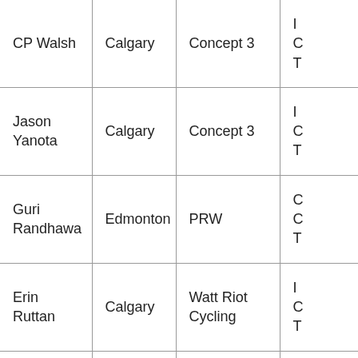| Name | City | Club |  |
| --- | --- | --- | --- |
| CP Walsh | Calgary | Concept 3 | ... |
| Jason Yanota | Calgary | Concept 3 | ... |
| Guri Randhawa | Edmonton | PRW | ... |
| Erin Ruttan | Calgary | Watt Riot Cycling | ... |
| Trev ... | Calgary | The Doctrine ... | ... |